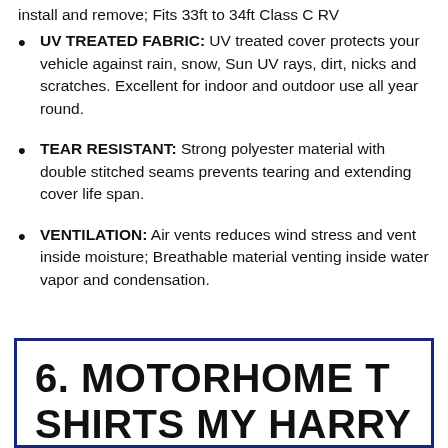UV TREATED FABRIC: UV treated cover protects your vehicle against rain, snow, Sun UV rays, dirt, nicks and scratches. Excellent for indoor and outdoor use all year round.
TEAR RESISTANT: Strong polyester material with double stitched seams prevents tearing and extending cover life span.
VENTILATION: Air vents reduces wind stress and vent inside moisture; Breathable material venting inside water vapor and condensation.
6. MOTORHOME T SHIRTS MY HARRY